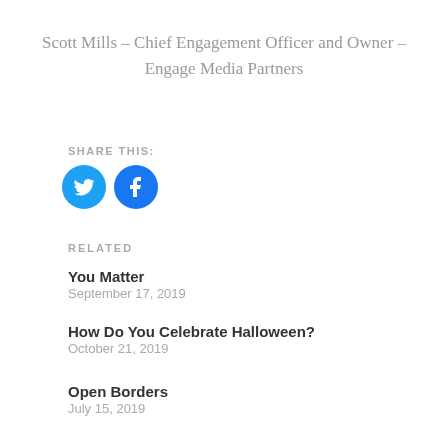Scott Mills – Chief Engagement Officer and Owner – Engage Media Partners
SHARE THIS:
[Figure (illustration): Twitter and Facebook social share icon buttons — two circles, one cyan-blue with Twitter bird logo, one blue with Facebook 'f' logo]
RELATED
You Matter
September 17, 2019
How Do You Celebrate Halloween?
October 21, 2019
Open Borders
July 15, 2019